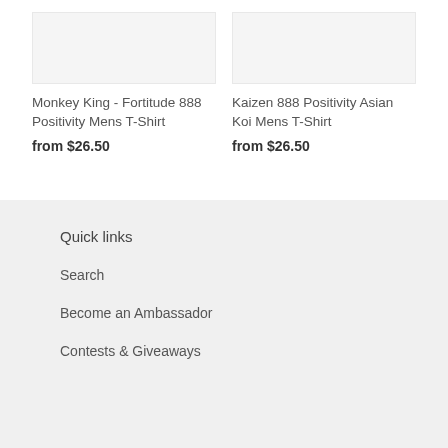[Figure (photo): Product image placeholder for Monkey King - Fortitude 888 Positivity Mens T-Shirt]
Monkey King - Fortitude 888 Positivity Mens T-Shirt
from $26.50
[Figure (photo): Product image placeholder for Kaizen 888 Positivity Asian Koi Mens T-Shirt]
Kaizen 888 Positivity Asian Koi Mens T-Shirt
from $26.50
Quick links
Search
Become an Ambassador
Contests & Giveaways